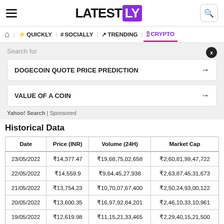LATESTLY
QUICKLY | # SOCIALLY | TRENDING | CRYPTO
Search for
DOGECOIN QUOTE PRICE PREDICTION →
VALUE OF A COIN →
Yahoo! Search | Sponsored
Historical Data
| Date | Price (INR) | Volume (24H) | Market Cap |
| --- | --- | --- | --- |
| 23/05/2022 | ₹14,377.47 | ₹19,68,75,02,658 | ₹2,60,81,99,47,722 |
| 22/05/2022 | ₹14,559.9 | ₹9,64,45,27,938 | ₹2,63,87,45,31,673 |
| 21/05/2022 | ₹13,754.23 | ₹10,70,07,67,400 | ₹2,50,24,93,00,122 |
| 20/05/2022 | ₹13,600.35 | ₹16,97,92,84,201 | ₹2,46,10,33,10,961 |
| 19/05/2022 | ₹12,619.98 | ₹11,15,21,33,465 | ₹2,29,40,15,21,500 |
| 18/05/2022 | ₹12,102.66 | ₹10,05,08,41,822 | ₹2,19,44,78,75,043 |
| 17/05/2022 | ₹13,422.22 | ₹11,62,65,87,082 | ₹2,43,20,26,94,149 |